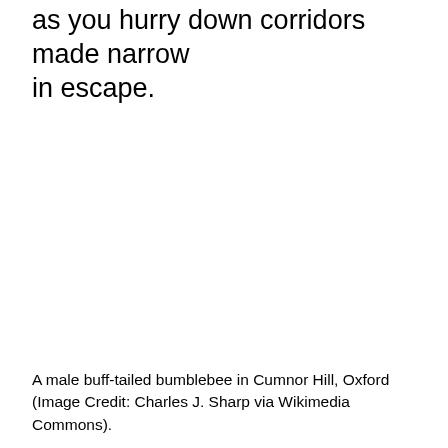as you hurry down corridors made narrow in escape.
A male buff-tailed bumblebee in Cumnor Hill, Oxford (Image Credit: Charles J. Sharp via Wikimedia Commons).